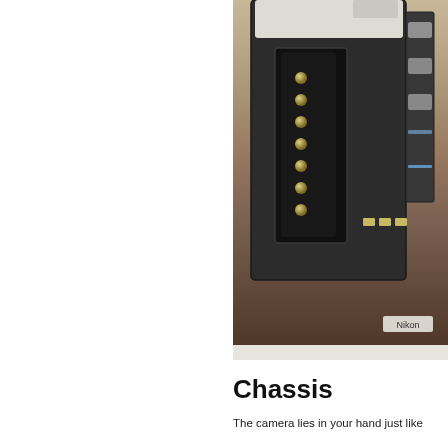[Figure (photo): Close-up photograph of the back of a Nikon camera with the battery compartment open, showing internal contacts/pins, placed on a dark wooden surface. The camera body is black and white. A 'Nikon' watermark appears at the bottom right of the image.]
Chassis
The camera lies in your hand just like